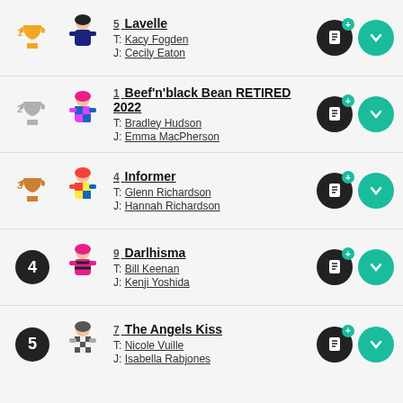1st place: 5 Lavelle, T: Kacy Fogden, J: Cecily Eaton
2nd place: 1 Beef'n'black Bean RETIRED 2022, T: Bradley Hudson, J: Emma MacPherson
3rd place: 4 Informer, T: Glenn Richardson, J: Hannah Richardson
4th place: 9 Darlhisma, T: Bill Keenan, J: Kenji Yoshida
5th place: 7 The Angels Kiss, T: Nicole Vuille, J: Isabella Rabjones